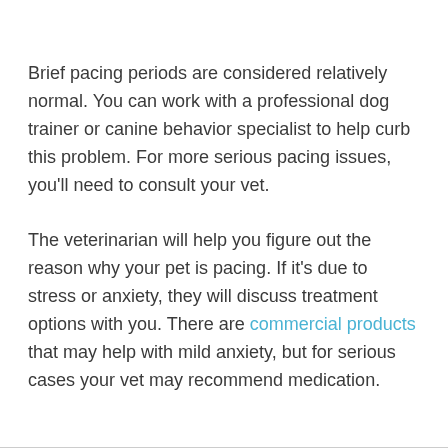Brief pacing periods are considered relatively normal. You can work with a professional dog trainer or canine behavior specialist to help curb this problem. For more serious pacing issues, you'll need to consult your vet.
The veterinarian will help you figure out the reason why your pet is pacing. If it's due to stress or anxiety, they will discuss treatment options with you. There are commercial products that may help with mild anxiety, but for serious cases your vet may recommend medication.